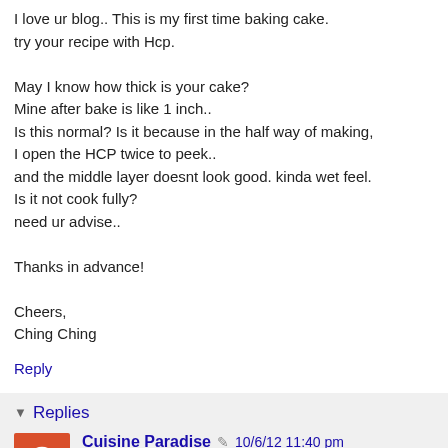I love ur blog.. This is my first time baking cake.
try your recipe with Hcp.

May I know how thick is your cake?
Mine after bake is like 1 inch..
Is this normal? Is it because in the half way of making,
I open the HCP twice to peek..
and the middle layer doesnt look good. kinda wet feel.
Is it not cook fully?
need ur advise..

Thanks in advance!

Cheers,
Ching Ching
Reply
Replies
Cuisine Paradise  10/6/12 11:40 pm
Hi Ching Ching,